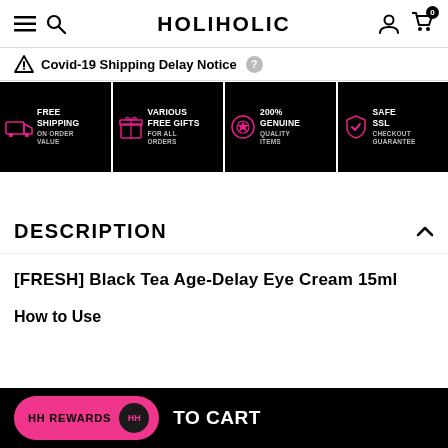HOLIHOLIC
Covid-19 Shipping Delay Notice
[Figure (infographic): Four black banner tiles showing: FREE SHIPPING ON ORDER VALUE (pink truck icon), VARIOUS FREE GIFTS FOR ALL ORDERS (pink gift icon), 200% GENUINE QUALITY ITEMS (pink badge icon), SAFE SSL CHECKOUT GUARANTEE (pink shield icon)]
DESCRIPTION
[FRESH] Black Tea Age-Delay Eye Cream 15ml
How to Use
HH REWARDS  TO CART